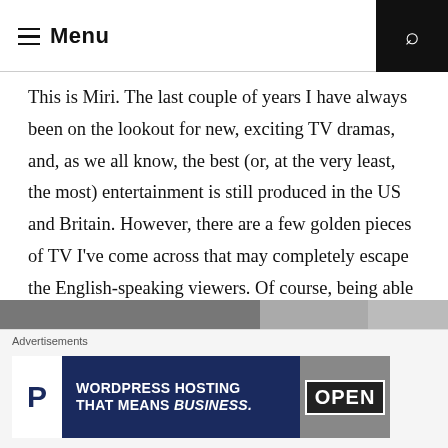Menu
This is Miri. The last couple of years I have always been on the lookout for new, exciting TV dramas, and, as we all know, the best (or, at the very least, the most) entertainment is still produced in the US and Britain. However, there are a few golden pieces of TV I've come across that may completely escape the English-speaking viewers. Of course, being able to watch something in its original form, without dubbing or subtitles, is always the most rewarding, but trust me when I tell you that for the three shows I will introduce to you, dubbing and/or subtitles will not ruin the fun.
[Figure (photo): Partial image strip visible at bottom of main content area]
Advertisements
[Figure (screenshot): WordPress Hosting That Means Business advertisement banner with P logo and OPEN sign]